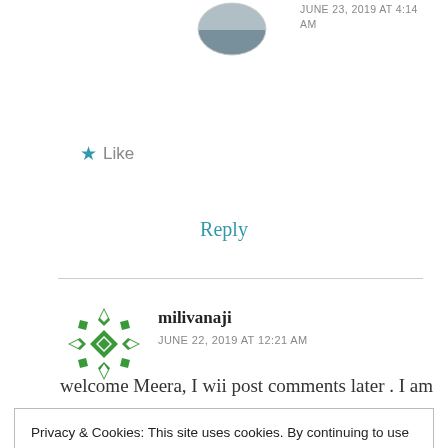[Figure (photo): Circular avatar image showing a landscape/nature scene, partially visible at top]
JUNE 23, 2019 AT 4:14 AM
★ Like
Reply
[Figure (illustration): Green decorative geometric/snowflake pattern avatar for user milivanaji]
milivanaji
JUNE 22, 2019 AT 12:21 AM
welcome Meera, I wii post comments later . I am
Privacy & Cookies: This site uses cookies. By continuing to use this website, you agree to their use.
To find out more, including how to control cookies, see here: Cookie Policy
Close and accept